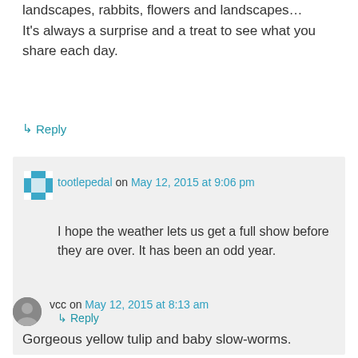landscapes, rabbits, flowers and landscapes… It's always a surprise and a treat to see what you share each day.
↳ Reply
tootlepedal on May 12, 2015 at 9:06 pm
I hope the weather lets us get a full show before they are over. It has been an odd year.
↳ Reply
vcc on May 12, 2015 at 8:13 am
Gorgeous yellow tulip and baby slow-worms.